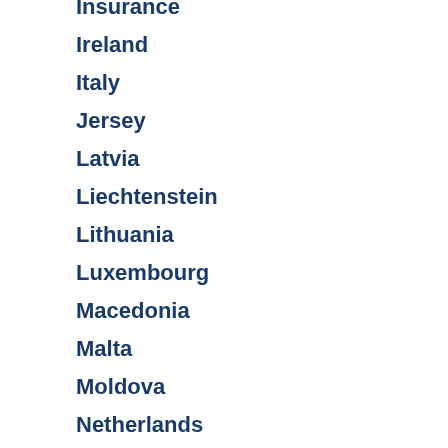Insurance
Ireland
Italy
Jersey
Latvia
Liechtenstein
Lithuania
Luxembourg
Macedonia
Malta
Moldova
Netherlands
Norway
Portugal